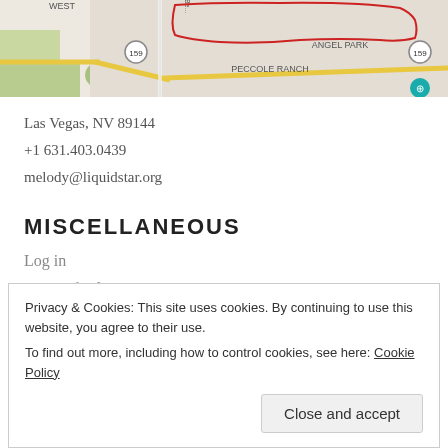[Figure (map): Street map showing Las Vegas area including Angel Park and Peccole Ranch neighborhoods, with route 159 marked and a red boundary outline.]
Las Vegas, NV 89144
+1 631.403.0439
melody@liquidstar.org
MISCELLANEOUS
Log in
Entries feed
Privacy & Cookies: This site uses cookies. By continuing to use this website, you agree to their use.
To find out more, including how to control cookies, see here: Cookie Policy